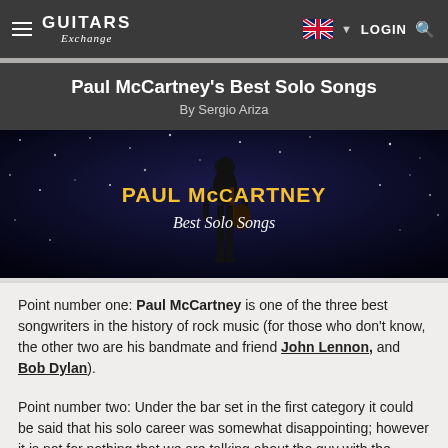GUITARS Exchange | LOGIN
Paul McCartney's Best Solo Songs
By Sergio Ariza
[Figure (photo): Paul McCartney performing on stage against a starfield background with overlay text reading 'PAUL McCARTNEY Best Solo Songs']
Point number one: Paul McCartney is one of the three best songwriters in the history of rock music (for those who don't know, the other two are his bandmate and friend John Lennon, and Bob Dylan).
Point number two: Under the bar set in the first category it could be said that his solo career was somewhat disappointing; however it is not for nothing that we are talking about the guy with the greatest melodic facility in the last 100 years. Even so,